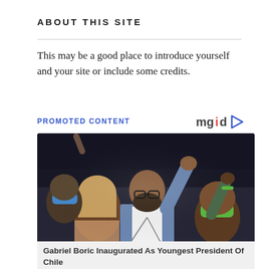ABOUT THIS SITE
This may be a good place to introduce yourself and your site or include some credits.
PROMOTED CONTENT
[Figure (photo): Man in blue blazer raising fist in the air at a political rally, surrounded by people wearing face masks including yellow and green masks]
Gabriel Boric Inaugurated As Youngest President Of Chile